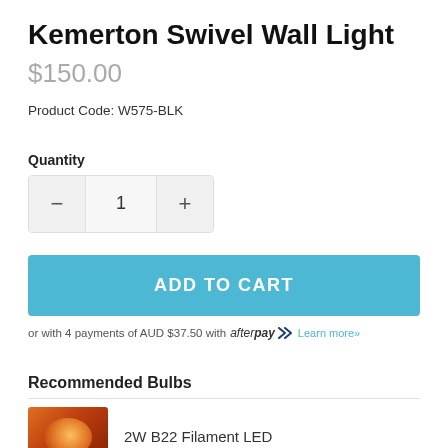Kemerton Swivel Wall Light
$150.00
Product Code: W575-BLK
Quantity
1
ADD TO CART
or with 4 payments of AUD $37.50 with afterpay  Learn more»
Recommended Bulbs
[Figure (photo): Warm orange glowing filament LED bulb thumbnail]
2W B22 Filament LED